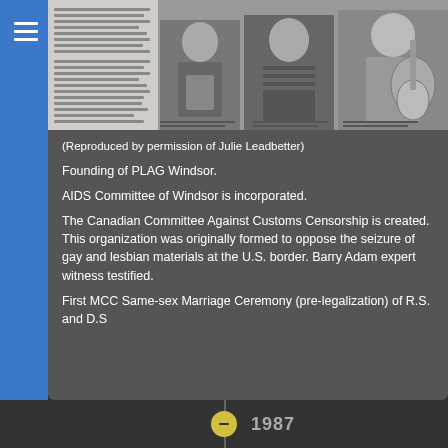[Figure (photo): Black and white photograph showing a group of people in what appears to be a magazine or newspaper layout, with text columns on the left side.]
(Reproduced by permission of Julie Leadbetter)
Founding of PLAG Windsor.
AIDS Committee of Windsor is incorporated.
The Canadian Committee Against Customs Censorship is created. This organization was originally formed to oppose the seizure of gay and lesbian materials at the U.S. border. Barry Adam expert witness testified.
First MCC Same-sex Marriage Ceremony (pre-legalization) of R.S. and D.S
1987